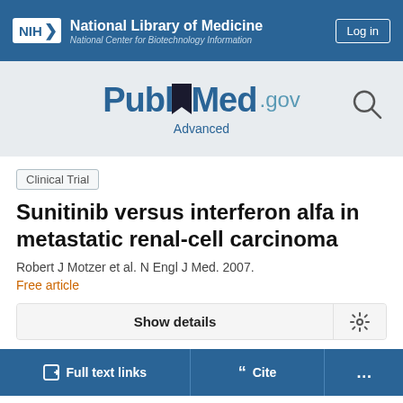NIH National Library of Medicine National Center for Biotechnology Information
[Figure (logo): PubMed.gov logo with search icon and Advanced link]
Clinical Trial
Sunitinib versus interferon alfa in metastatic renal-cell carcinoma
Robert J Motzer et al. N Engl J Med. 2007.
Free article
Show details
Full text links  Cite  ...